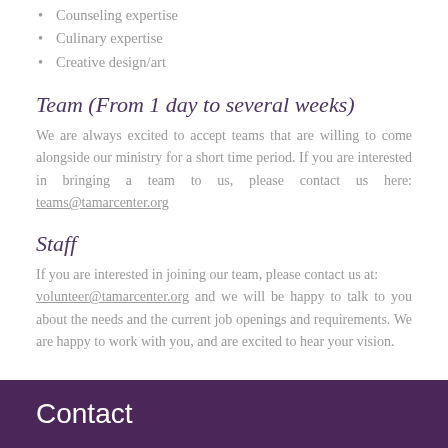Counseling expertise
Culinary expertise
Creative design/art
Team (From 1 day to several weeks)
We are always excited to accept teams that are willing to come alongside our ministry for a short time period. If you are interested in bringing a team to us, please contact us here: teams@tamarcenter.org
Staff
If you are interested in joining our team, please contact us at: volunteer@tamarcenter.org and we will be happy to talk to you about the needs and the current job openings and requirements. We are happy to work with you, and are excited to hear your vision.
Contact